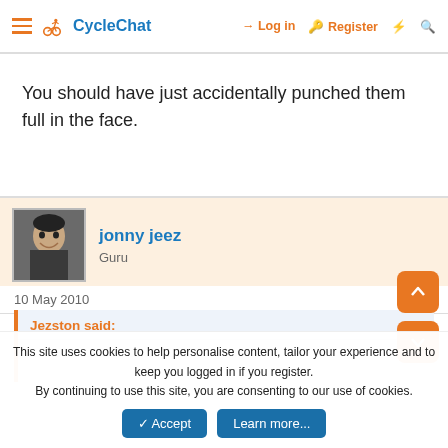CycleChat | Log in | Register
You should have just accidentally punched them full in the face.
jonny jeez
Guru
10 May 2010  #5
Jezston said:
This site uses cookies to help personalise content, tailor your experience and to keep you logged in if you register.
By continuing to use this site, you are consenting to our use of cookies.